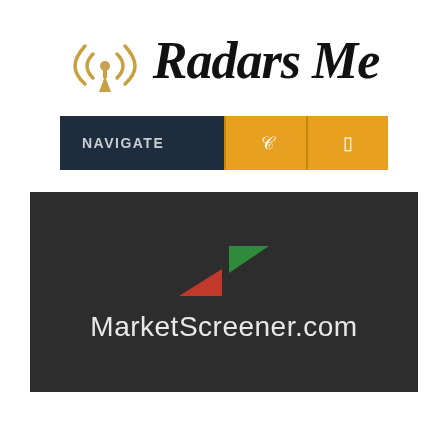[Figure (logo): Radars Me logo with antenna/signal icon and italic bold text 'Radars Me']
NAVIGATE
[Figure (logo): MarketScreener.com logo on dark background with green and red arrow icon]